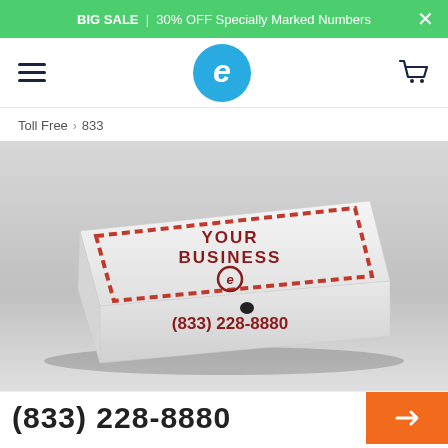BIG SALE | 30% OFF Specially Marked Numbers ×
[Figure (logo): Easyvanity/e-commerce site navigation bar with hamburger menu, circular blue 'e' logo, and shopping cart icon]
Toll Free › 833
[Figure (photo): Pizza box mockup with 'YOUR BUSINESS' text and 'e' logo on top, phone number (833) 228-8880 on the front side, on a gray background]
(833) 228-8880